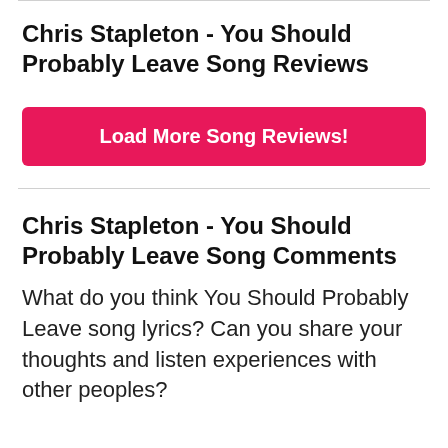Chris Stapleton - You Should Probably Leave Song Reviews
Load More Song Reviews!
Chris Stapleton - You Should Probably Leave Song Comments
What do you think You Should Probably Leave song lyrics? Can you share your thoughts and listen experiences with other peoples?